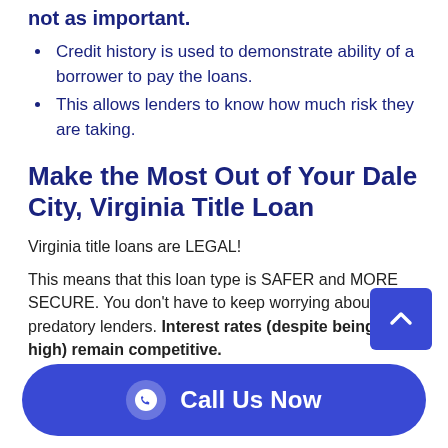not as important.
Credit history is used to demonstrate ability of a borrower to pay the loans.
This allows lenders to know how much risk they are taking.
Make the Most Out of Your Dale City, Virginia Title Loan
Virginia title loans are LEGAL!
This means that this loan type is SAFER and MORE SECURE. You don’t have to keep worrying about predatory lenders. Interest rates (despite being very high) remain competitive.
Call Us Now